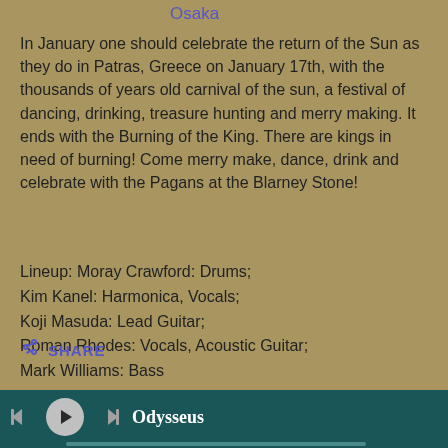Osaka
In January one should celebrate the return of the Sun as they do in Patras, Greece on January 17th, with the thousands of years old carnival of the sun, a festival of dancing, drinking, treasure hunting and merry making. It ends with the Burning of the King. There are kings in need of burning! Come merry make, dance, drink and celebrate with the Pagans at the Blarney Stone!
Lineup: Moray Crawford: Drums;
Kim Kanel: Harmonica, Vocals;
Koji Masuda: Lead Guitar;
Roman Rhodes: Vocals, Acoustic Guitar;
Mark Williams: Bass
SHARE
Odysseus